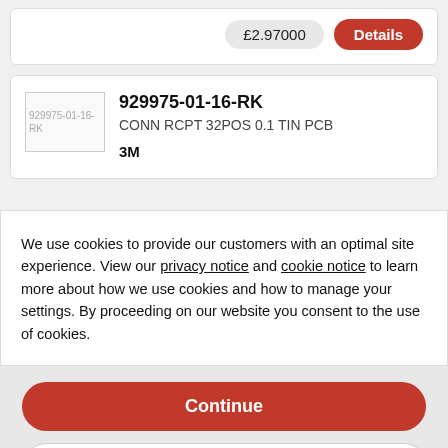£2.97000
Details
[Figure (photo): Product thumbnail image placeholder for 929975-01-16-RK]
929975-01-16-RK
CONN RCPT 32POS 0.1 TIN PCB
3M
We use cookies to provide our customers with an optimal site experience. View our privacy notice and cookie notice to learn more about how we use cookies and how to manage your settings. By proceeding on our website you consent to the use of cookies.
Continue
Exit
Privacy Notice